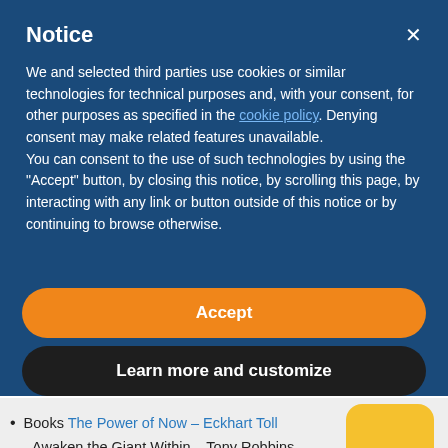Notice
We and selected third parties use cookies or similar technologies for technical purposes and, with your consent, for other purposes as specified in the cookie policy. Denying consent may make related features unavailable.
You can consent to the use of such technologies by using the "Accept" button, by closing this notice, by scrolling this page, by interacting with any link or button outside of this notice or by continuing to browse otherwise.
Accept
Learn more and customize
Books The Power of Now – Eckhart Tolle   Awaken the Giant Within – Tony Robbins   Surrender Experiment – Michael Singer